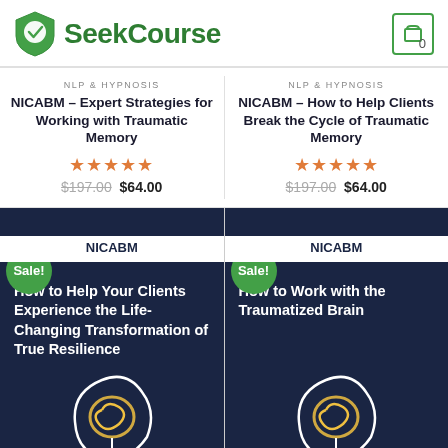[Figure (logo): SeekCourse logo with green shield and shopping cart icon showing 0]
NLP & HYPNOSIS
NICABM – Expert Strategies for Working with Traumatic Memory
★★★★★ $197.00 $64.00
NLP & HYPNOSIS
NICABM – How to Help Clients Break the Cycle of Traumatic Memory
★★★★★ $197.00 $64.00
[Figure (screenshot): NICABM course card: How to Help Your Clients Experience the Life-Changing Transformation of True Resilience, with Sale badge, dark navy background and head illustration]
[Figure (screenshot): NICABM course card: How to Work with the Traumatized Brain, with Sale badge, dark navy background and head illustration]